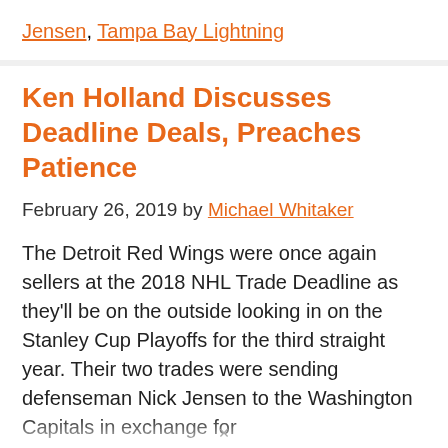Jensen, Tampa Bay Lightning
Ken Holland Discusses Deadline Deals, Preaches Patience
February 26, 2019 by Michael Whitaker
The Detroit Red Wings were once again sellers at the 2018 NHL Trade Deadline as they'll be on the outside looking in on the Stanley Cup Playoffs for the third straight year. Their two trades were sending defenseman Nick Jensen to the Washington Capitals in exchange for